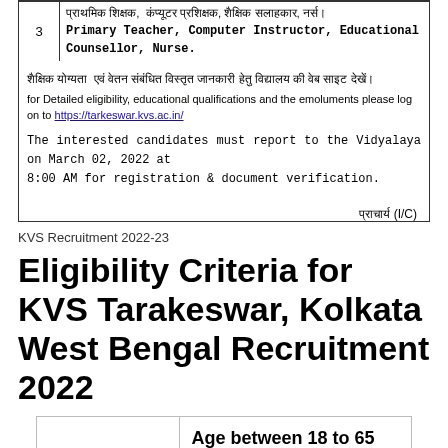| 3 | प्राथमिक शिक्षक, कंप्यूटर प्रशिक्षक, शैक्षिक सलाहकार, नर्स।
Primary Teacher, Computer Instructor, Educational Counsellor, Nurse. |
शैक्षिक योग्यता एवं वेतन संबंधित विस्तृत जानकारी हेतु विद्यालय की वेब साइट देखें।
for Detailed eligibility, educational qualifications and the emoluments please log on to https://tarkeswar.kvs.ac.in/
The interested candidates must report to the Vidyalaya on March 02, 2022 at 8:00 AM for registration & document verification.
प्राचार्य (I/C)
KVS Recruitment 2022-23
Eligibility Criteria for KVS Tarakeswar, Kolkata West Bengal Recruitment 2022
| Age Range | Age between 18 to 65 years as on 31.03.2022 |